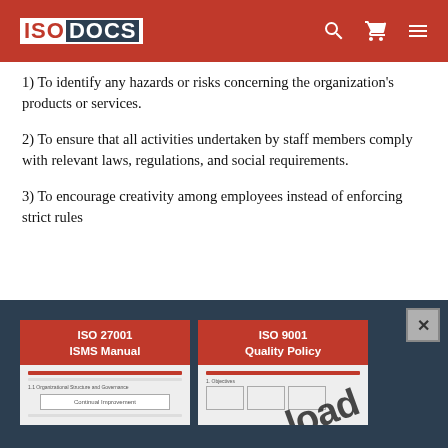ISO DOCS
1) To identify any hazards or risks concerning the organization's products or services.
2) To ensure that all activities undertaken by staff members comply with relevant laws, regulations, and social requirements.
3) To encourage creativity among employees instead of enforcing strict rules
[Figure (screenshot): Dark blue banner showing product cards for ISO 27001 ISMS Manual and ISO 9001 Quality Policy with a 'load' watermark overlay and a close button.]